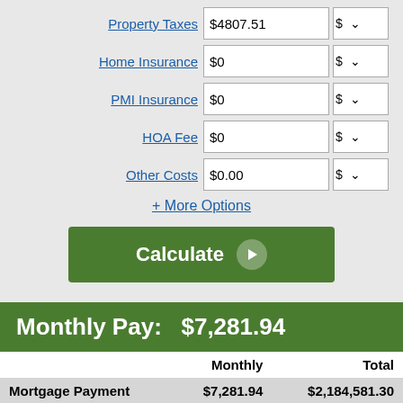|  | Value | Unit |
| --- | --- | --- |
| Property Taxes | $4807.51 | $ ▾ |
| Home Insurance | $0 | $ ▾ |
| PMI Insurance | $0 | $ ▾ |
| HOA Fee | $0 | $ ▾ |
| Other Costs | $0.00 | $ ▾ |
+ More Options
Calculate
Monthly Pay:   $7,281.94
|  | Monthly | Total |
| --- | --- | --- |
| Mortgage Payment | $7,281.94 | $2,184,581.30 |
| Property Tax | $400.63 | $120,187.75 |
| Total Out-of-Pocket | $7,682.56 | $2,304,769.85 |